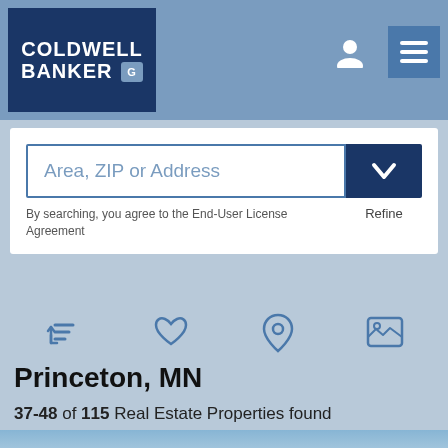[Figure (logo): Coldwell Banker logo with blue background and white text]
Area, ZIP or Address
By searching, you agree to the End-User License Agreement
Refine
Princeton, MN
37-48 of 115 Real Estate Properties found
[Figure (photo): Outdoor photo showing trees and sky, partial property listing image]